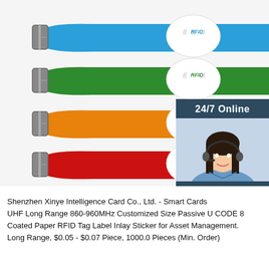[Figure (photo): Four colorful RFID silicone wristbands in blue, green, orange, and red with white circular RFID chip discs. Each wristband has a metal buckle on the left end. Overlaid on the right side is a customer service chat panel showing a woman with a headset, text '24/7 Online', 'Click here for free chat!', and an orange 'QUOTATION' button.]
Shenzhen Xinye Intelligence Card Co., Ltd. - Smart Cards
UHF Long Range 860-960MHz Customized Size Passive U CODE 8 Coated Paper RFID Tag Label Inlay Sticker for Asset Management.
Long Range, $0.05 - $0.07 Piece, 1000.0 Pieces (Min. Order)